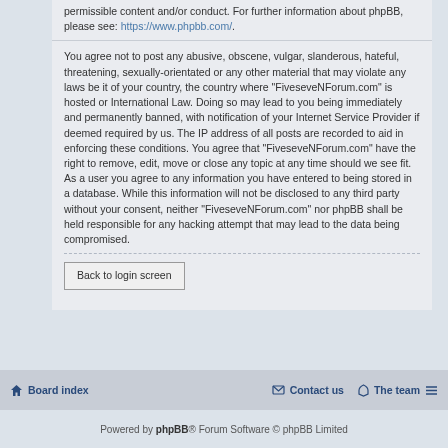permissible content and/or conduct. For further information about phpBB, please see: https://www.phpbb.com/.
You agree not to post any abusive, obscene, vulgar, slanderous, hateful, threatening, sexually-orientated or any other material that may violate any laws be it of your country, the country where “FiveseveNForum.com” is hosted or International Law. Doing so may lead to you being immediately and permanently banned, with notification of your Internet Service Provider if deemed required by us. The IP address of all posts are recorded to aid in enforcing these conditions. You agree that “FiveseveNForum.com” have the right to remove, edit, move or close any topic at any time should we see fit. As a user you agree to any information you have entered to being stored in a database. While this information will not be disclosed to any third party without your consent, neither “FiveseveNForum.com” nor phpBB shall be held responsible for any hacking attempt that may lead to the data being compromised.
Back to login screen
Board index   Contact us   The team   Powered by phpBB® Forum Software © phpBB Limited